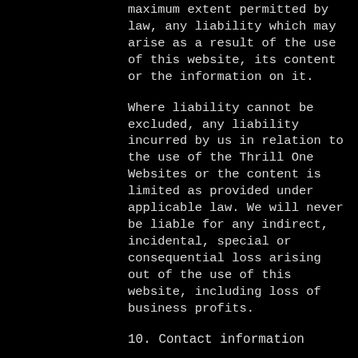maximum extent permitted by law, any liability which may arise as a result of the use of this website, its content or the information on it.
Where liability cannot be excluded, any liability incurred by us in relation to the use of the Thrill One Websites or the content is limited as provided under applicable law. We will never be liable for any indirect, incidental, special or consequential loss arising out of the use of this website, including loss of business profits.
10. Contact information
For privacy policy questions or concerns, please contact us at: info@thrillone.com